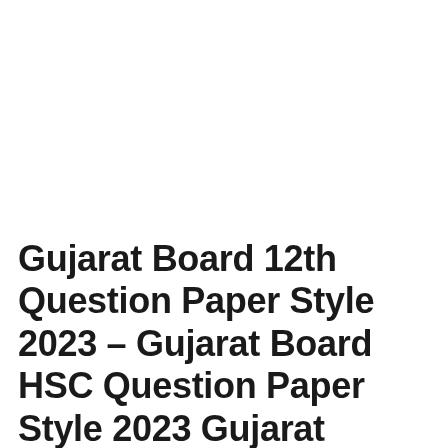Gujarat Board 12th Question Paper Style 2023 – Gujarat Board HSC Question Paper Style 2023 Gujarat Board 12th Question Paper Style 2023 – Gujarat Board HSC Question Paper Style 2023